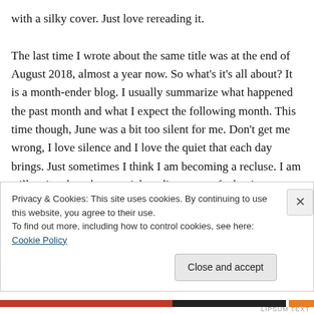with a silky cover. Just love rereading it.

The last time I wrote about the same title was at the end of August 2018, almost a year now. So what's it's all about? It is a month-ender blog. I usually summarize what happened the past month and what I expect the following month. This time though, June was a bit too silent for me. Don't get me wrong, I love silence and I love the quiet that each day brings. Just sometimes I think I am becoming a recluse. I am still active though on social media, aware of what is happening around, disappointed, dispirited and
Privacy & Cookies: This site uses cookies. By continuing to use this website, you agree to their use.
To find out more, including how to control cookies, see here: Cookie Policy
Close and accept